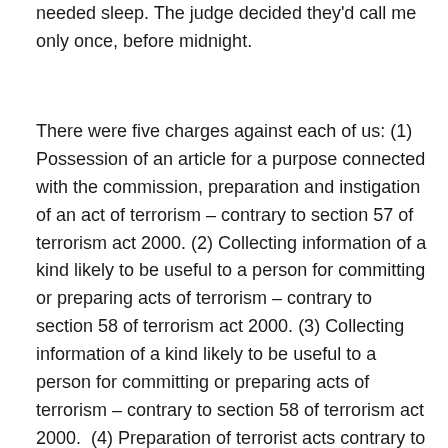needed sleep. The judge decided they'd call me only once, before midnight.
There were five charges against each of us: (1) Possession of an article for a purpose connected with the commission, preparation and instigation of an act of terrorism – contrary to section 57 of terrorism act 2000. (2) Collecting information of a kind likely to be useful to a person for committing or preparing acts of terrorism – contrary to section 58 of terrorism act 2000. (3) Collecting information of a kind likely to be useful to a person for committing or preparing acts of terrorism – contrary to section 58 of terrorism act 2000.  (4) Preparation of terrorist acts contrary to section 5 of terrorism act 2006. (5) Incitement to commit an act or acts of terrorism – contrary to section 59 of terrorism act 2000. Additionally,